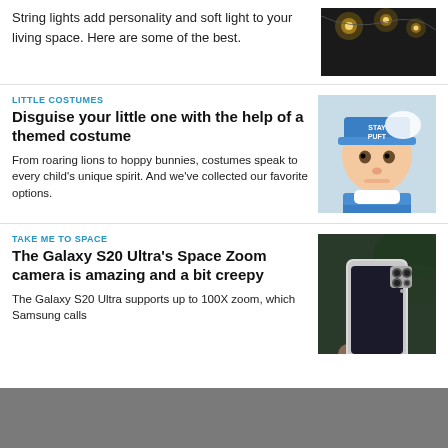String lights add personality and soft light to your living space. Here are some of the best.
[Figure (photo): String lights hanging in a dark room]
LITTLE COSTUMES
Disguise your little one with the help of a themed costume
From roaring lions to hoppy bunnies, costumes speak to every child's unique spirit. And we've collected our favorite options.
[Figure (photo): Baby wearing a Stay Puft themed hat and costume]
TAKE ME TO SPACE
The Galaxy S20 Ultra's Space Zoom camera is amazing and a bit creepy
The Galaxy S20 Ultra supports up to 100X zoom, which Samsung calls Space Zoom, but it is creepy. Space zoom really...
[Figure (photo): Hand holding a Samsung Galaxy S20 Ultra smartphone showing camera module]